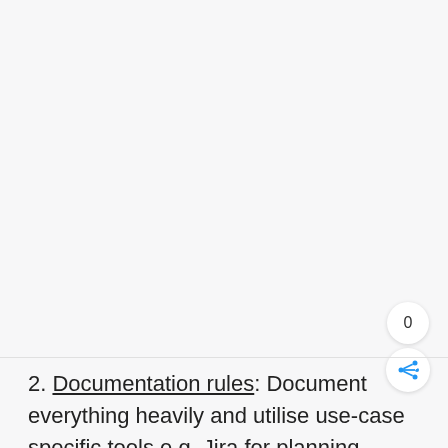[Figure (other): Share widget showing count '0' and a share icon button (blue share/network icon) on the right side of the page]
2. Documentation rules: Document everything heavily and utilise use-case specific tools e.g. Jira for planning meetings & Standups,